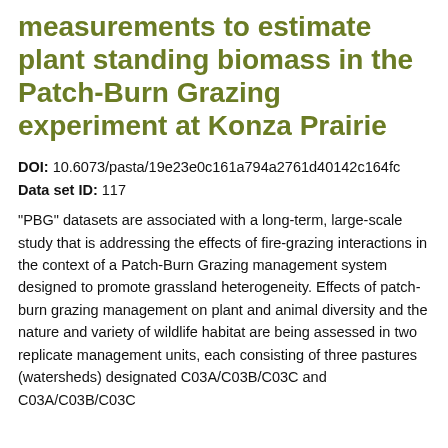measurements to estimate plant standing biomass in the Patch-Burn Grazing experiment at Konza Prairie
DOI: 10.6073/pasta/19e23e0c161a794a2761d40142c164fc
Data set ID: 117
"PBG" datasets are associated with a long-term, large-scale study that is addressing the effects of fire-grazing interactions in the context of a Patch-Burn Grazing management system designed to promote grassland heterogeneity. Effects of patch-burn grazing management on plant and animal diversity and the nature and variety of wildlife habitat are being assessed in two replicate management units, each consisting of three pastures (watersheds) designated C03A/C03B/C03C and C03A/C03B/C03C